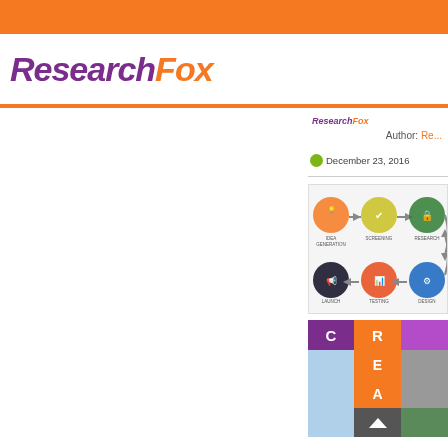ResearchFox
[Figure (logo): ResearchFox logo with purple 'Research' and orange 'Fox' italic bold text]
Author: ResearchFox
December 23, 2016
[Figure (flowchart): Product development process flowchart showing circular icons: IDEA GENERATION, SCREENING, RESEARCH (top row left to right with arrows), then LAUNCH, TESTING, DESIGN (bottom row right to left with arrows)]
[Figure (infographic): CREA acronym blocks in purple (C), orange (R), purple (partial) and sub-rows with blue cells, orange letters E and A]